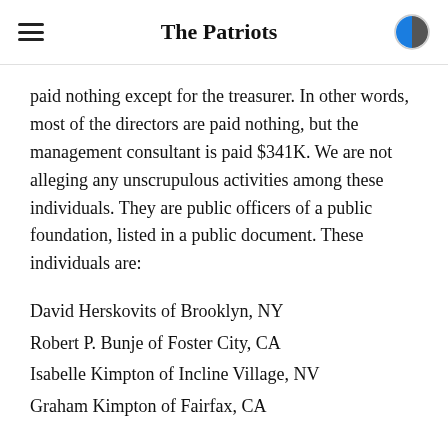The Patriots
paid nothing except for the treasurer. In other words, most of the directors are paid nothing, but the management consultant is paid $341K. We are not alleging any unscrupulous activities among these individuals. They are public officers of a public foundation, listed in a public document. These individuals are:
David Herskovits of Brooklyn, NY
Robert P. Bunje of Foster City, CA
Isabelle Kimpton of Incline Village, NV
Graham Kimpton of Fairfax, CA